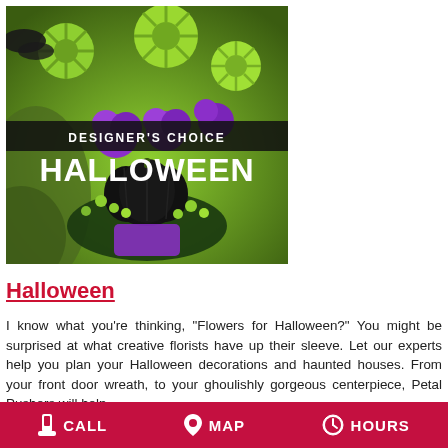[Figure (photo): Halloween floral arrangement photo with text overlay 'DESIGNER'S CHOICE' and 'HALLOWEEN'. Shows purple carnations, green spider mums, black pumpkin, green berries on a lime green background.]
Halloween
I know what you're thinking, "Flowers for Halloween?" You might be surprised at what creative florists have up their sleeve. Let our experts help you plan your Halloween decorations and haunted houses. From your front door wreath, to your ghoulishly gorgeous centerpiece, Petal Pushers will help
CALL   MAP   HOURS